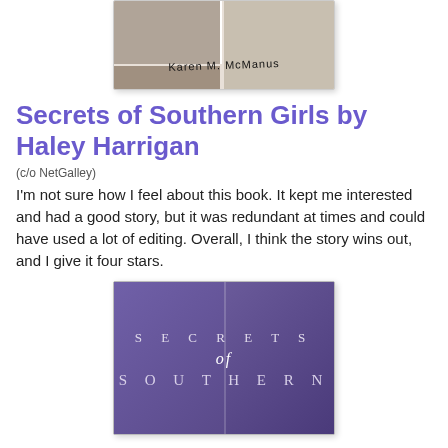[Figure (photo): Top portion of a photo collage showing Karen M. McManus with handwritten name text, two photos of people visible]
Secrets of Southern Girls by Haley Harrigan
(c/o NetGalley)
I'm not sure how I feel about this book. It kept me interested and had a good story, but it was redundant at times and could have used a lot of editing. Overall, I think the story wins out, and I give it four stars.
[Figure (photo): Book cover of Secrets of Southern Girls showing purple background with white serif text reading SECRETS of SOUTHERN, book spine visible in center]